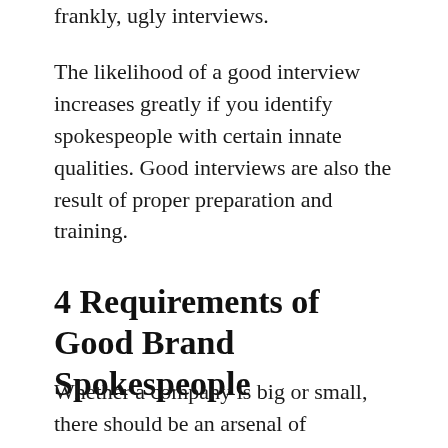frankly, ugly interviews.
The likelihood of a good interview increases greatly if you identify spokespeople with certain innate qualities. Good interviews are also the result of proper preparation and training.
4 Requirements of Good Brand Spokespeople
Whether a company is big or small, there should be an arsenal of spokespeople to cover a variety of topics that will boost the corporate reputation. The best place to begin selecting your spokespeople is with these four